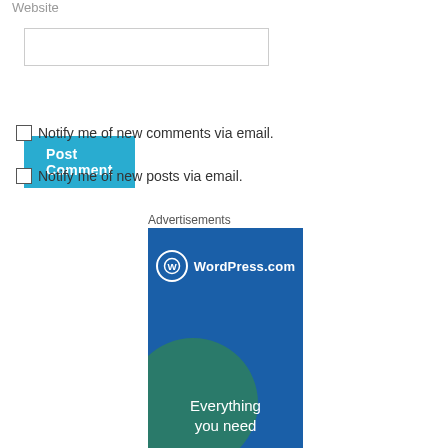Website
[Figure (screenshot): Website text input field, empty]
[Figure (screenshot): Post Comment button in teal/blue]
Notify me of new comments via email.
Notify me of new posts via email.
Advertisements
[Figure (screenshot): WordPress.com advertisement banner with blue background, WordPress.com logo at top, green circle graphic, and text 'Everything you need']